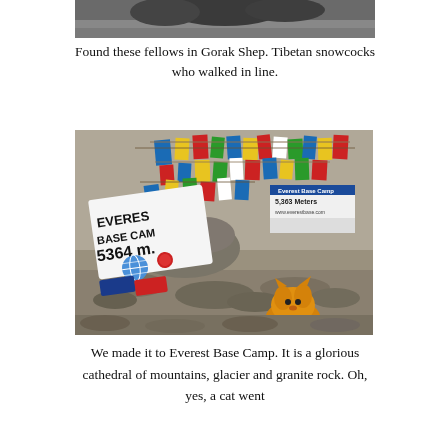[Figure (photo): Partial top photo of Tibetan snowcocks birds at Gorak Shep, cropped view showing dark shapes at bottom of frame.]
Found these fellows in Gorak Shep. Tibetan snowcocks who walked in line.
[Figure (photo): Photo at Everest Base Camp showing colorful Tibetan prayer flags draped over rocks, a sign reading 'EVEREST BASE CAMP 5364 m.' in the foreground, another sign reading 'Everest Base Camp 5,363 Meters' in the background, and a small yellow stuffed cat toy sitting on the rocky terrain.]
We made it to Everest Base Camp. It is a glorious cathedral of mountains, glacier and granite rock. Oh, yes, a cat went